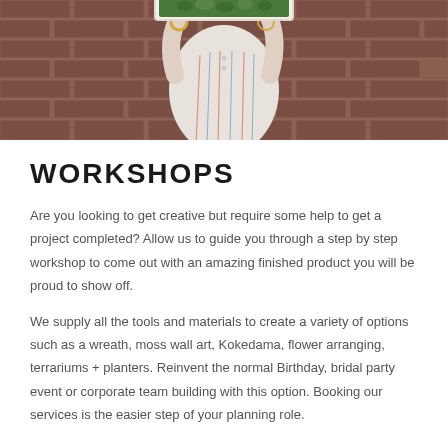[Figure (photo): A person in a white striped outfit holding up a framed terrarium/moss artwork against a brick wall background. The person's face is obscured by the frame they are holding up.]
WORKSHOPS
Are you looking to get creative but require some help to get a project completed? Allow us to guide you through a step by step workshop to come out with an amazing finished product you will be proud to show off.
We supply all the tools and materials to create a variety of options such as a wreath, moss wall art, Kokedama, flower arranging, terrariums + planters. Reinvent the normal Birthday, bridal party event or corporate team building with this option. Booking our services is the easier step of your planning role.